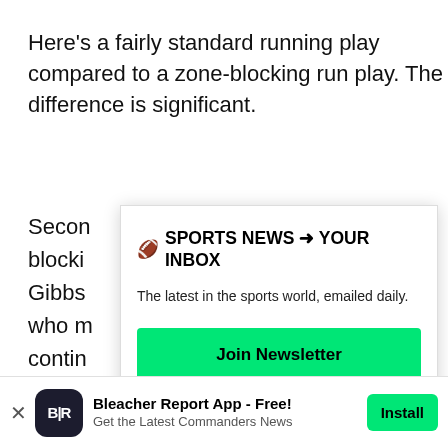Here's a fairly standard running play compared to a zone-blocking run play. The difference is significant.
Secon
blocki
Gibbs
who m
contin
[Figure (other): Newsletter signup overlay modal with title '🏈 SPORTS NEWS → YOUR INBOX', subtitle 'The latest in the sports world, emailed daily.', a green 'Join Newsletter' button, and a 'Maybe Later' text link.]
That's
Look a
things
five re
weak l
[Figure (other): Bottom app banner: Bleacher Report App - Free! Get the Latest Commanders News. With B|R logo, close button, and green Install button.]